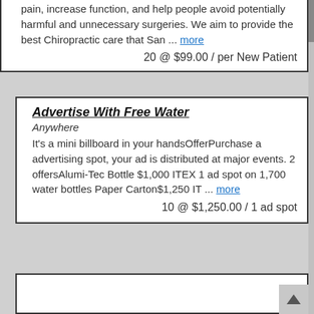pain, increase function, and help people avoid potentially harmful and unnecessary surgeries. We aim to provide the best Chiropractic care that San ... more
20 @ $99.00 / per New Patient
Advertise With Free Water
Anywhere
It's a mini billboard in your handsOfferPurchase a advertising spot, your ad is distributed at major events. 2 offersAlumi-Tec Bottle $1,000 ITEX 1 ad spot on 1,700 water bottles Paper Carton$1,250 IT ... more
10 @ $1,250.00 / 1 ad spot